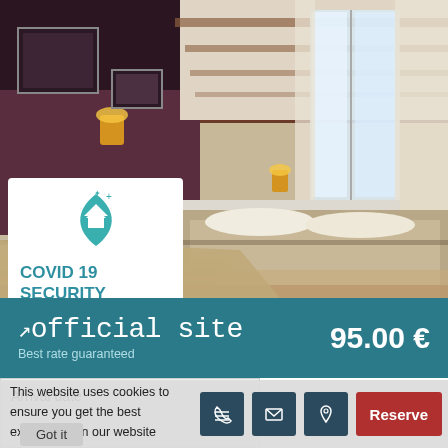[Figure (photo): Hotel room with two beds, purple accent wall, wooden ceiling beams, large windows with sheer curtains]
COVID 19
SECURITY
MEASURES
official site
Best rate guaranteed
95.00 €
Arrival date
This website uses cookies to ensure you get the best experience on our website
Got it
Reserve